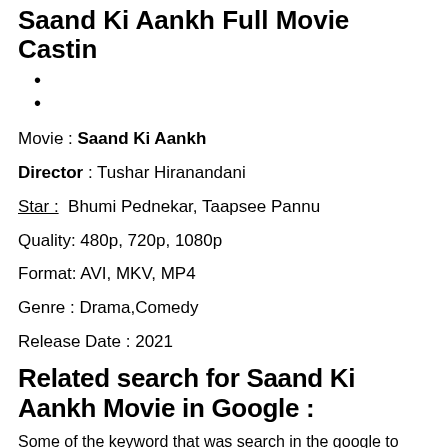Saand Ki Aankh Full Movie Castin
•
•
Movie : Saand Ki Aankh
Director : Tushar Hiranandani
Star : Bhumi Pednekar, Taapsee Pannu
Quality: 480p, 720p, 1080p
Format: AVI, MKV, MP4
Genre : Drama,Comedy
Release Date : 2021
Related search for Saand Ki Aankh Movie in Google :
Some of the keyword that was search in the google to findin